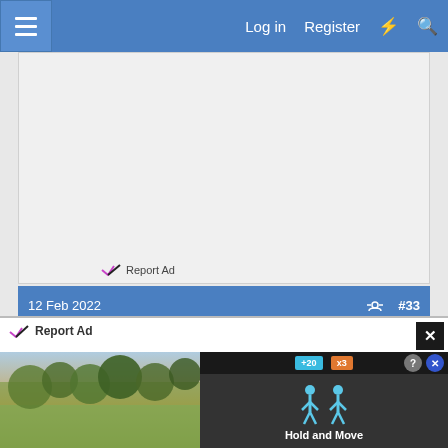Log in  Register
[Figure (screenshot): Advertisement area placeholder (light gray background)]
Report Ad
12 Feb 2022  #33
[Figure (screenshot): Report Ad overlay with game advertisement showing 'Hold and Move' game, trees in background, +20 and x3 bonus pills visible, close and X buttons]
Report Ad
Hold and Move